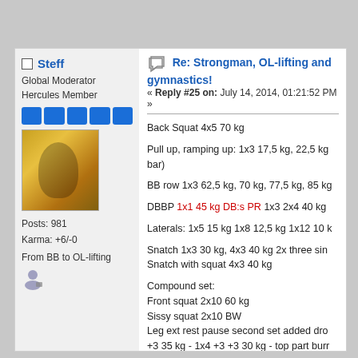Steff — Global Moderator, Hercules Member, Posts: 981, Karma: +6/-0, From BB to OL-lifting
Re: Strongman, OL-lifting and gymnastics!
« Reply #25 on: July 14, 2014, 01:21:52 PM »
Back Squat 4x5 70 kg
Pull up, ramping up: 1x3 17,5 kg, 22,5 kg bar)
BB row 1x3 62,5 kg, 70 kg, 77,5 kg, 85 kg
DBBP 1x1 45 kg DB:s PR 1x3 2x4 40 kg
Laterals: 1x5 15 kg 1x8 12,5 kg 1x12 10 k
Snatch 1x3 30 kg, 4x3 40 kg 2x three sing Snatch with squat 4x3 40 kg
Compound set: Front squat 2x10 60 kg Sissy squat 2x10 BW Leg ext rest pause second set added dro +3 35 kg - 1x4 +3 +3 30 kg - top part burr